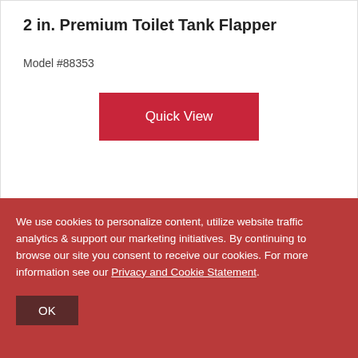2 in. Premium Toilet Tank Flapper
Model #88353
Quick View
Compare
[Figure (photo): Teal/green rubber toilet tank flapper product photo]
We use cookies to personalize content, utilize website traffic analytics & support our marketing initiatives. By continuing to browse our site you consent to receive our cookies. For more information see our Privacy and Cookie Statement.
OK